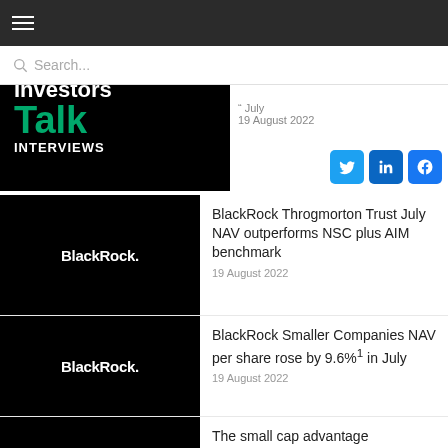BlackRock Latin American Investment Trust sh... July | 19 August 2022
[Figure (logo): BlackRock Investors Talk Interviews logo on black background]
BlackRock Throgmorton Trust July NAV outperforms NSC plus AIM benchmark — 19 August 2022
BlackRock Smaller Companies NAV per share rose by 9.6%1 in July — 19 August 2022
The small cap advantage — 18 August 2022
Time to reappraise the ‘value’ approach? — 18 August 2022